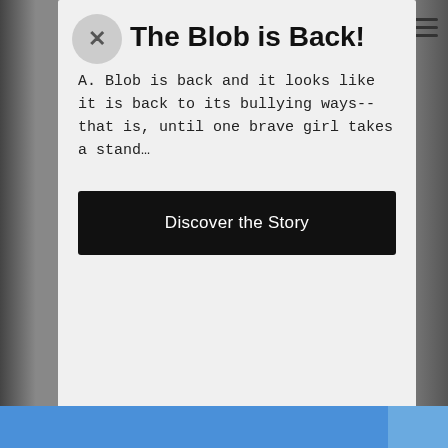The Blob is Back!
A. Blob is back and it looks like it is back to its bullying ways--that is, until one brave girl takes a stand…
Discover the Story